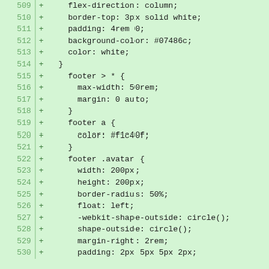509 +     flex-direction: column;
510 +     border-top: 3px solid white;
511 +     padding: 4rem 0;
512 +     background-color: #07486c;
513 +     color: white;
514 +   }
515 +     footer > * {
516 +       max-width: 50rem;
517 +       margin: 0 auto;
518 +     }
519 +     footer a {
520 +       color: #f1c40f;
521 +     }
522 +     footer .avatar {
523 +       width: 200px;
524 +       height: 200px;
525 +       border-radius: 50%;
526 +       float: left;
527 +       -webkit-shape-outside: circle();
528 +       shape-outside: circle();
529 +       margin-right: 2rem;
530 +       padding: 2px 5px 5px 2px;